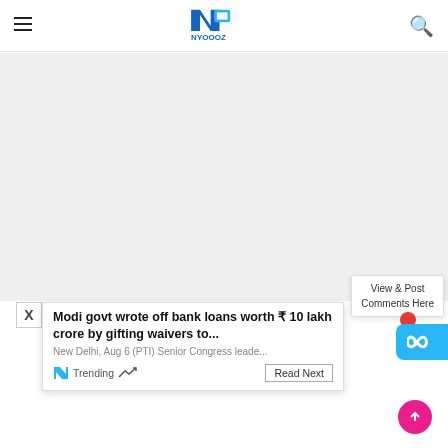NYOOOZ — My City My News
[Figure (screenshot): Large white/light-gray advertisement or empty content area]
X
Modi govt wrote off bank loans worth ₹10 lakh crore by gifting waivers to...
New Delhi, Aug 6 (PTI) Senior Congress leade...
Trending
Read Next
View & Post Comments Here
[Figure (logo): Pink/magenta floating action button with arrow icon]